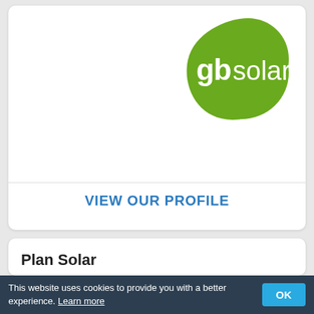[Figure (logo): GBSolar logo — a green organic blob shape with white text 'gb' in regular weight and 'solar' in light weight]
VIEW OUR PROFILE
Plan Solar
Plan Solar are MCS and RECC accredited and based in Sheffield.
33 Barnsley Road, Penistone, Sheffield, S36 8AE
08000016653
This website uses cookies to provide you with a better experience. Learn more